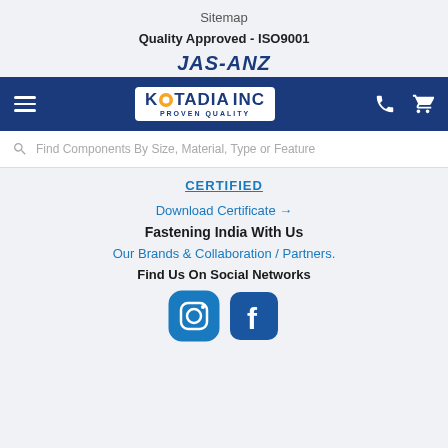Sitemap
Quality Approved - ISO9001
JAS-ANZ
[Figure (screenshot): Kotadia INC navigation bar with hamburger menu, logo, phone and cart icons, and search bar]
CERTIFIED
Download Certificate →
Fastening India With Us
Our Brands & Collaboration / Partners.
Find Us On Social Networks
[Figure (illustration): Instagram and Facebook social media icons in blue]